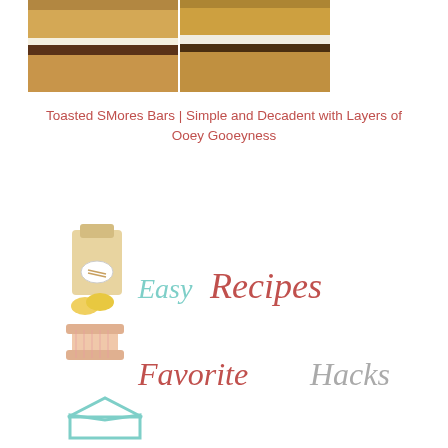[Figure (photo): Two photos side by side of s'mores bars showing layers of graham cracker, chocolate, and toasted marshmallow]
Toasted SMores Bars | Simple and Decadent with Layers of Ooey Gooeyness
[Figure (logo): Easy Recipes Favorite Hacks logo with illustrated flour bag, coins, thread spool, and house icon]